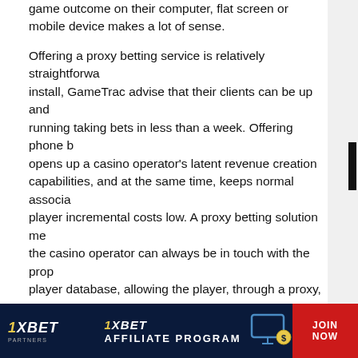game outcome on their computer, flat screen or mobile device makes a lot of sense.
Offering a proxy betting service is relatively straightforward to install, GameTrac advise that their clients can be up and running taking bets in less than a week. Offering phone b... opens up a casino operator's latent revenue creation capabilities, and at the same time, keeps normal associa... player incremental costs low. A proxy betting solution me... the casino operator can always be in touch with the prop... player database, allowing the player, through a proxy, to ... in real time without having to leave the comfort of home, ... or country. This is particularly appealing for players resid... countries where gambling is prohibited. If you're operatin... this part of the world, get on board and offer phone bettin...
[Figure (infographic): 1XBET Partners affiliate program banner with logo on left, '1XBET AFFILIATE PROGRAM' text in center with monitor/coin icon, and red 'JOIN NOW' button on right, all on dark navy background.]